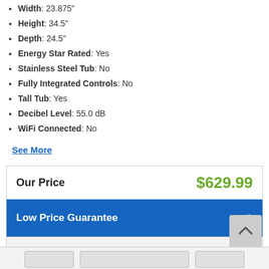Width: 23.875"
Height: 34.5"
Depth: 24.5"
Energy Star Rated: Yes
Stainless Steel Tub: No
Fully Integrated Controls: No
Tall Tub: Yes
Decibel Level: 55.0 dB
WiFi Connected: No
See More
Our Price $629.99
Low Price Guarantee +
Enter Zip Code * For delivery options and item availability.